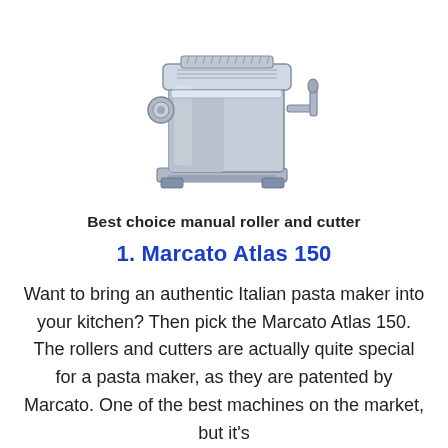[Figure (photo): A silver/chrome manual pasta maker machine (Marcato Atlas 150) with rollers, cutters, and a hand crank, photographed on a white background.]
Best choice manual roller and cutter
1. Marcato Atlas 150
Want to bring an authentic Italian pasta maker into your kitchen? Then pick the Marcato Atlas 150. The rollers and cutters are actually quite special for a pasta maker, as they are patented by Marcato. One of the best machines on the market, but it's